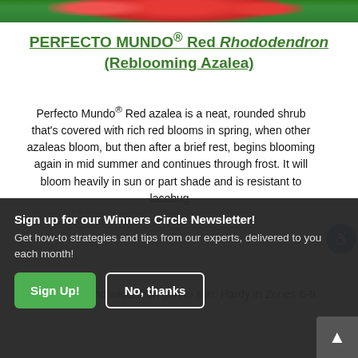[Figure (photo): Top portion of a red rhododendron / azalea plant with green foliage, cropped at top edge]
PERFECTO MUNDO® Red Rhododendron (Reblooming Azalea)
Perfecto Mundo® Red azalea is a neat, rounded shrub that's covered with rich red blooms in spring, when other azaleas bloom, but then after a brief rest, begins blooming again in mid summer and continues through frost. It will bloom heavily in sun or part shade and is resistant to lacebug.
3-4' tall and wide. Part sun to sun. Hardy in Zones 6-9.
Sign up for our Winners Circle Newsletter!
Get how-to strategies and tips from our experts, delivered to you each month!